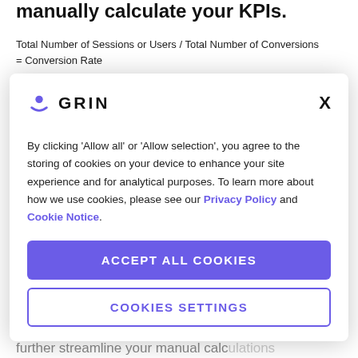manually calculate your KPIs.
Total Number of Sessions or Users / Total Number of Conversions = Conversion Rate
[Figure (screenshot): GRIN cookie consent modal dialog with logo, consent text, 'ACCEPT ALL COOKIES' button, and 'COOKIES SETTINGS' button]
further streamline your manual calculations